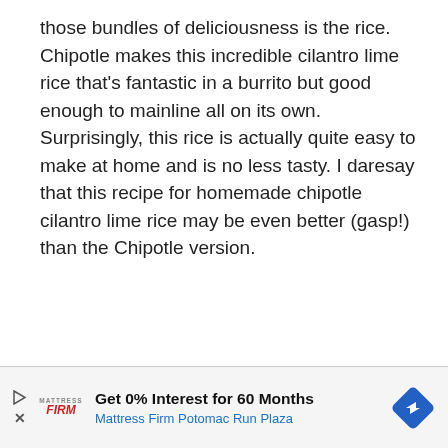those bundles of deliciousness is the rice. Chipotle makes this incredible cilantro lime rice that's fantastic in a burrito but good enough to mainline all on its own. Surprisingly, this rice is actually quite easy to make at home and is no less tasty. I daresay that this recipe for homemade chipotle cilantro lime rice may be even better (gasp!) than the Chipotle version.
[Figure (other): Advertisement banner for Mattress Firm Potomac Run Plaza with '0% Interest for 60 Months' offer, featuring Mattress Firm logo, play button icon, close button, and a blue diamond navigation icon.]